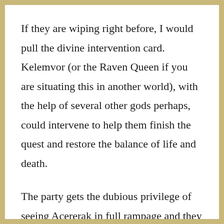If they are wiping right before, I would pull the divine intervention card. Kelemvor (or the Raven Queen if you are situating this in another world), with the help of several other gods perhaps, could intervene to help them finish the quest and restore the balance of life and death.
The party gets the dubious privilege of seeing Acererak in full rampage and they